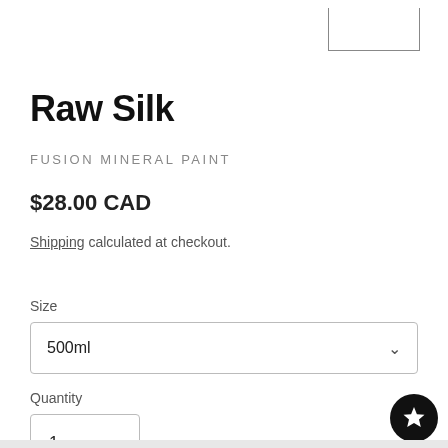Raw Silk
FUSION MINERAL PAINT
$28.00 CAD
Shipping calculated at checkout.
Size
500ml
Quantity
1